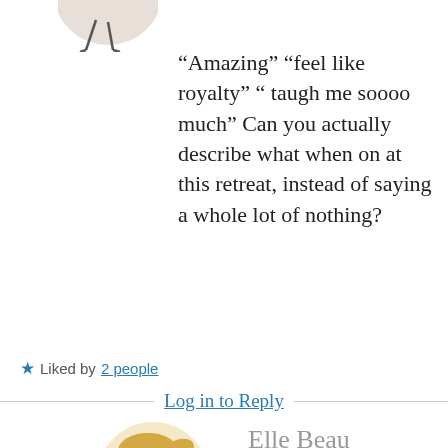[Figure (illustration): Partial avatar image at top — cartoon figure visible at top of page, cropped]
“Amazing” “feel like royalty” “ taugh me soooo much” Can you actually describe what when on at this retreat, instead of saying a whole lot of nothing?
★ Liked by 2 people
Log in to Reply
[Figure (illustration): Cartoon bitmoji avatar of a blonde woman with ponytail, wearing dark top, chin resting on hand]
Elle Beau
DEC 7, 2017 AT 8:43 PM
I’m hoping someone will